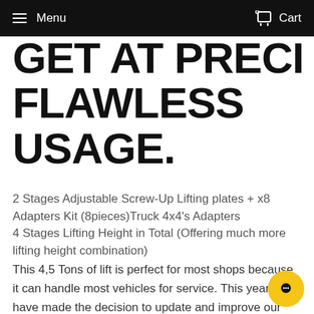Menu  Cart
GET AT PRECISE AND FLAWLESS USAGE.
2 Stages Adjustable Screw-Up Lifting plates + x8 Adapters Kit (8pieces)Truck 4x4's Adapters
4 Stages Lifting Height in Total (Offering much more lifting height combination)
This 4,5 Tons of lift is perfect for most shops because it can handle most vehicles for service. This year, we have made the decision to update and improve our best lift while keeping all the features we already love about it. After all, you can always improve and enhance! Spin-up pads are standard on all LFT-4500D lifts – 8 Adjustable height